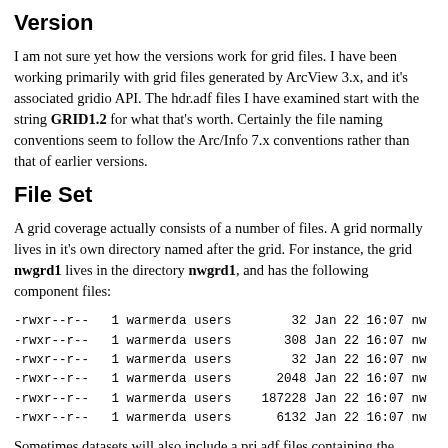Version
I am not sure yet how the versions work for grid files. I have been working primarily with grid files generated by ArcView 3.x, and it's associated gridio API. The hdr.adf files I have examined start with the string GRID1.2 for what that's worth. Certainly the file naming conventions seem to follow the Arc/Info 7.x conventions rather than that of earlier versions.
File Set
A grid coverage actually consists of a number of files. A grid normally lives in it's own directory named after the grid. For instance, the grid nwgrd1 lives in the directory nwgrd1, and has the following component files:
-rwxr--r--   1 warmerda users        32 Jan 22 16:07 nw
-rwxr--r--   1 warmerda users       308 Jan 22 16:07 nw
-rwxr--r--   1 warmerda users        32 Jan 22 16:07 nw
-rwxr--r--   1 warmerda users      2048 Jan 22 16:07 nw
-rwxr--r--   1 warmerda users    187228 Jan 22 16:07 nw
-rwxr--r--   1 warmerda users      6132 Jan 22 16:07 nw
Sometimes datasets will also include a prj.adf files containing the projection definition in the usual ESRI format. Grids also normally have associated tables in the info directory. This is beyond the